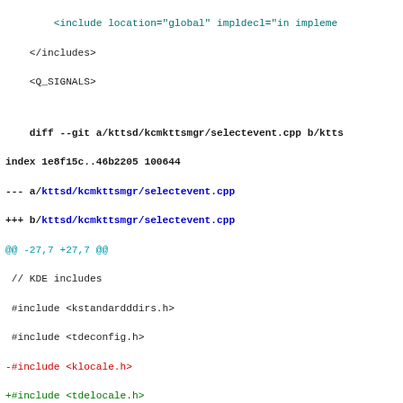<include location="global" impldecl="in impleme
</includes>
<Q_SIGNALS>
diff --git a/kttsd/kcmkttsmgr/selectevent.cpp b/ktts
index 1e8f15c..46b2205 100644
--- a/kttsd/kcmkttsmgr/selectevent.cpp
+++ b/kttsd/kcmkttsmgr/selectevent.cpp
@@ -27,7 +27,7 @@
 // KDE includes
 #include <kstandardddirs.h>
 #include <tdeconfig.h>
-#include <klocale.h>
+#include <tdelocale.h>
 #include <kdebug.h>
 #include <tdelistview.h>
 #include <kiconloader.h>
diff --git a/kttsd/kttsd/filtermgr.cpp b/kttsd/kttsd
index 25c34eb..3c97443 100644
--- a/kttsd/kttsd/filtermgr.cpp
+++ b/kttsd/kttsd/filtermgr.cpp
@@ -28,7 +28,7 @@
 #include <tdeconfig.h>
 #include <ktrader.h>
 #include <tdeparts/componentfactory.h>
-#include <klocale.h>
+#include <tdelocale.h>

 // FilterMgr includes.
 #include "filtermgr.h"